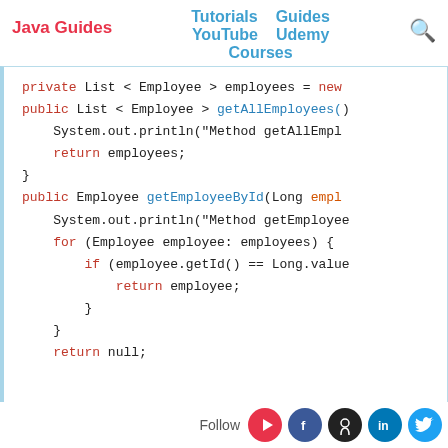Java Guides | Tutorials | Guides | YouTube | Udemy | Courses
private List < Employee > employees = new
public List < Employee > getAllEmployees()
    System.out.println("Method getAllEmpl...
    return employees;
}

public Employee getEmployeeById(Long empl...
    System.out.println("Method getEmployee...
    for (Employee employee: employees) {
        if (employee.getId() == Long.value...
            return employee;
        }
    }
    return null;
Follow [YouTube] [Facebook] [GitHub] [LinkedIn] [Twitter]